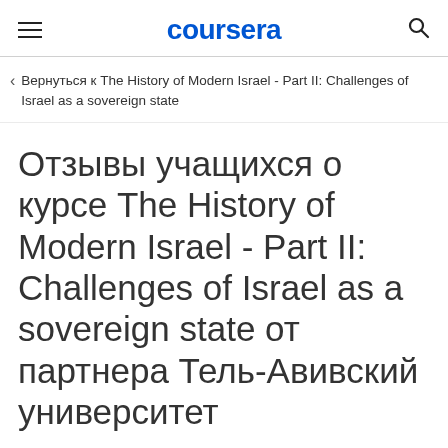coursera
Вернуться к The History of Modern Israel - Part II: Challenges of Israel as a sovereign state
Отзывы учащихся о курсе The History of Modern Israel - Part II: Challenges of Israel as a sovereign state от партнера Тель-Авивский университет
Участвовать бесплатно
Начинается 23 авг. г.